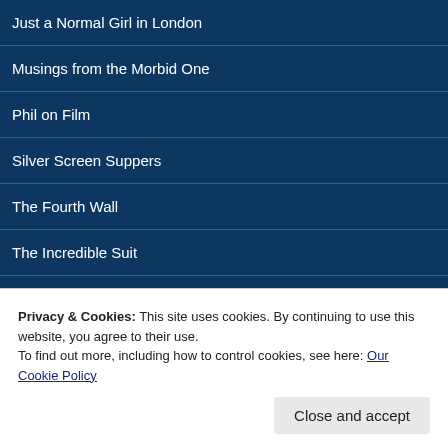Just a Normal Girl in London
Musings from the Morbid One
Phil on Film
Silver Screen Suppers
The Fourth Wall
The Incredible Suit
LONDON
Privacy & Cookies: This site uses cookies. By continuing to use this website, you agree to their use.
To find out more, including how to control cookies, see here: Our Cookie Policy
Close and accept